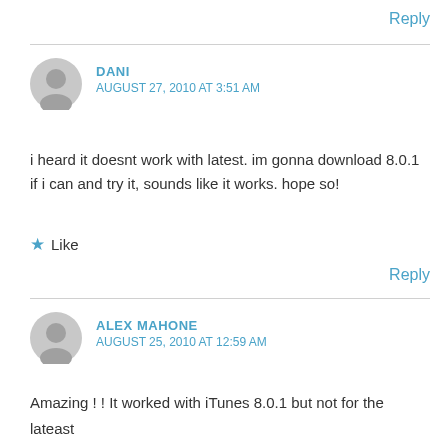Reply
DANI
AUGUST 27, 2010 AT 3:51 AM
i heard it doesnt work with latest. im gonna download 8.0.1 if i can and try it, sounds like it works. hope so!
Like
Reply
ALEX MAHONE
AUGUST 25, 2010 AT 12:59 AM
Amazing ! ! It worked with iTunes 8.0.1 but not for the lateast version of the Same..
Thanks a lot…
Finally…